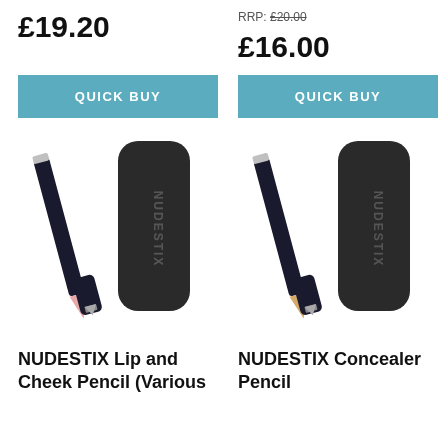£19.20
RRP: £20.00
£16.00
QUICK BUY
QUICK BUY
[Figure (photo): NUDESTIX Lip and Cheek Pencil product photo showing a pink pencil and black case with NUDESTIX branding]
[Figure (photo): NUDESTIX Concealer Pencil product photo showing a beige pencil and black case with NUDESTIX branding]
NUDESTIX Lip and Cheek Pencil (Various
NUDESTIX Concealer Pencil